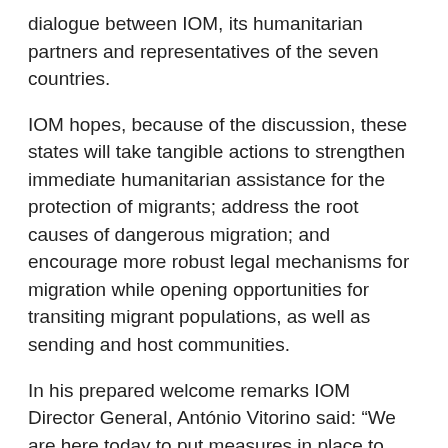dialogue between IOM, its humanitarian partners and representatives of the seven countries.
IOM hopes, because of the discussion, these states will take tangible actions to strengthen immediate humanitarian assistance for the protection of migrants; address the root causes of dangerous migration; and encourage more robust legal mechanisms for migration while opening opportunities for transiting migrant populations, as well as sending and host communities.
In his prepared welcome remarks IOM Director General, António Vitorino said: “We are here today to put measures in place to protect people on the move, prevent future loss of life, and address the root causes and drivers of irregular migration in the region. Orderly, safe and dignified migration is not possible without the pursuit of sustainable peace and development in countries of origin, transit and destination